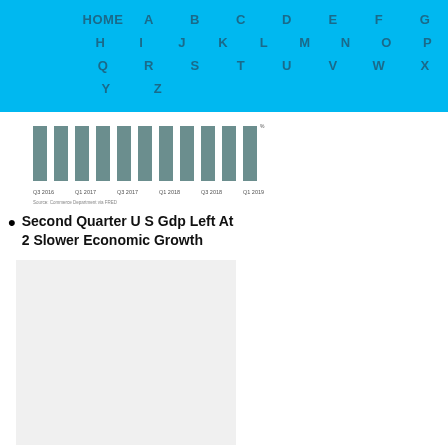HOME A B C D E F G H I J K L M N O P Q R S T U V W X Y Z
[Figure (bar-chart): Bar chart showing quarterly GDP data from Q3 2016 to Q1 2019, with source note: Commerce Department via FRED]
Second Quarter U S Gdp Left At 2 Slower Economic Growth
[Figure (other): Thumbnail image placeholder (light gray box)]
The Us Economy Performs Better Under Democratic Presidents